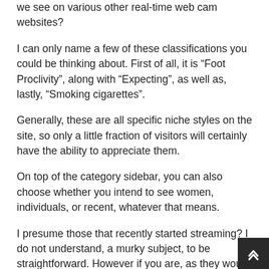we see on various other real-time web cam websites?
I can only name a few of these classifications you could be thinking about. First of all, it is “Foot Proclivity”, along with “Expecting”, as well as, lastly, “Smoking cigarettes”.
Generally, these are all specific niche styles on the site, so only a little fraction of visitors will certainly have the ability to appreciate them.
On top of the category sidebar, you can also choose whether you intend to see women, individuals, or recent, whatever that means.
I presume those that recently started streaming? I do not understand, a murky subject, to be straightforward. However if you are, as they would certainly claim, homosexual, then you will delight in